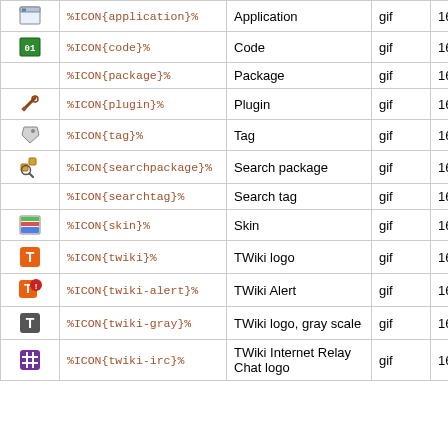| (icon) | (code) | (name) | (type) | (size) |
| --- | --- | --- | --- | --- |
| [app icon] | %ICON{application}% | Application | gif | 16x16 |
| [code icon] | %ICON{code}% | Code | gif | 16x16 |
|  | %ICON{package}% | Package | gif | 16x16 |
| [plugin icon] | %ICON{plugin}% | Plugin | gif | 16x16 |
| [tag icon] | %ICON{tag}% | Tag | gif | 16x16 |
| [searchpackage icon] | %ICON{searchpackage}% | Search package | gif | 16x16 |
|  | %ICON{searchtag}% | Search tag | gif | 16x16 |
| [skin icon] | %ICON{skin}% | Skin | gif | 16x16 |
| [twiki icon] | %ICON{twiki}% | TWiki logo | gif | 16x16 |
| [twiki-alert icon] | %ICON{twiki-alert}% | TWiki Alert | gif | 16x16 |
| [twiki-gray icon] | %ICON{twiki-gray}% | TWiki logo, gray scale | gif | 16x16 |
| [twiki-irc icon] | %ICON{twiki-irc}% | TWiki Internet Relay Chat logo | gif | 16x16 |